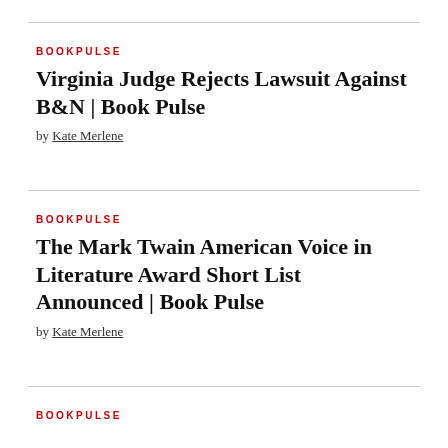BOOKPULSE
Virginia Judge Rejects Lawsuit Against B&N | Book Pulse
by Kate Merlene
BOOKPULSE
The Mark Twain American Voice in Literature Award Short List Announced | Book Pulse
by Kate Merlene
BOOKPULSE